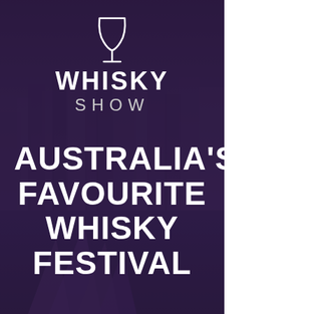[Figure (illustration): Poster with dark purple overlay on a city/Sydney Opera House background. Contains a wine glass icon logo with 'WHISKY SHOW' text, and large bold white text reading 'AUSTRALIA'S FAVOURITE WHISKY FESTIVAL']